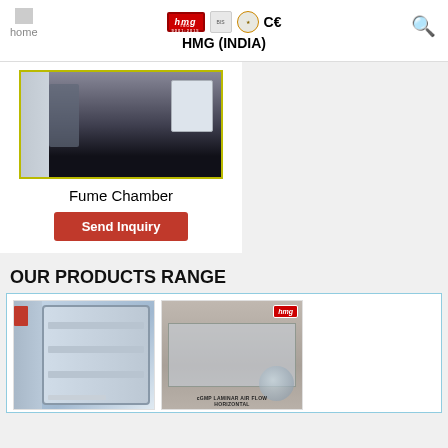home  HMG (INDIA)
[Figure (photo): Fume Chamber product photo showing interior with dark chamber]
Fume Chamber
Send Inquiry
OUR PRODUCTS RANGE
[Figure (photo): Autoclave / laboratory oven with open door showing shelves inside]
[Figure (photo): cGMP Laminar Air Flow Horizontal unit with HMG logo and globe graphic, caption: cGMP LAMINAR AIR FLOW HORIZONTAL]